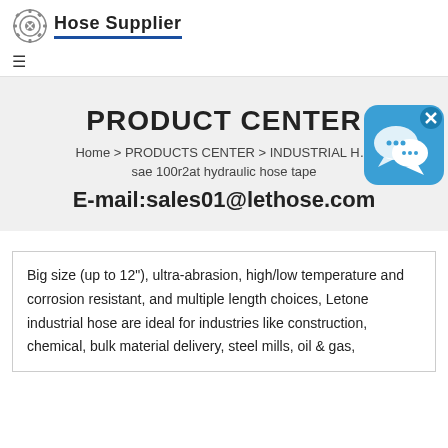[Figure (logo): Hose Supplier logo with gear/cog icon and brand name 'Hose Supplier' with blue underline]
≡
PRODUCT CENTER
Home > PRODUCTS CENTER > INDUSTRIAL H… sae 100r2at hydraulic hose tape
E-mail:sales01@lethose.com
[Figure (illustration): Blue chat/messaging app icon with speech bubbles and X close button]
Big size (up to 12"), ultra-abrasion, high/low temperature and corrosion resistant, and multiple length choices, Letone industrial hose are ideal for industries like construction, chemical, bulk material delivery, steel mills, oil & gas,